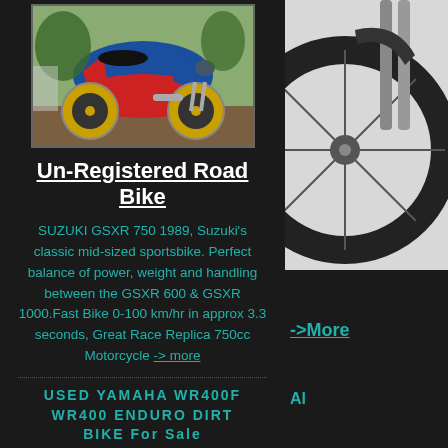[Figure (photo): Blue and red Suzuki GSXR 750 sportsbike with yellow wheels parked outdoors]
Un-Registered Road Bike
SUZUKI GSXR 750 1989, Suzuki's classic mid-sized sportsbike. Perfect balance of power, weight and handling between the GSXR 600 & GSXR 1000.Fast Bike 0-100 km/hr in approx 3.3 seconds, Great Race Replica 750cc Motorcycle -> more
USED YAMAHA WR400F WR400 ENDURO DIRT BIKE For Sale
$3300!
[Figure (photo): Partial view of a dirt bike wheel and front fork against a white/grey background]
->More
Al